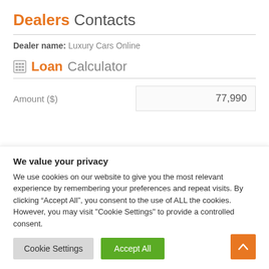Dealers Contacts
Dealer name: Luxury Cars Online
Loan Calculator
Amount ($)  77,990
We value your privacy
We use cookies on our website to give you the most relevant experience by remembering your preferences and repeat visits. By clicking “Accept All”, you consent to the use of ALL the cookies. However, you may visit "Cookie Settings" to provide a controlled consent.
Cookie Settings | Accept All